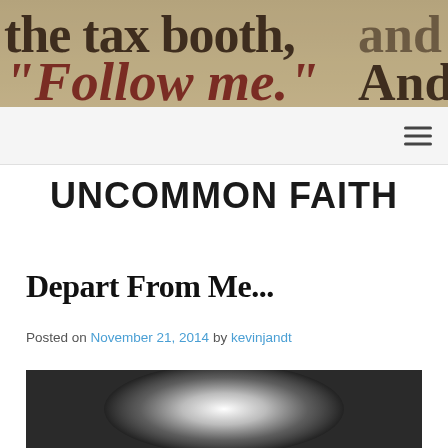[Figure (photo): Close-up photo of printed biblical text on aged paper, showing the words 'the tax booth, "Follow me." And']
☰
UNCOMMON FAITH
Depart From Me...
Posted on November 21, 2014 by kevinjandt
[Figure (photo): Dark blurred photograph with a bright white glowing center light, creating a dramatic atmospheric effect]